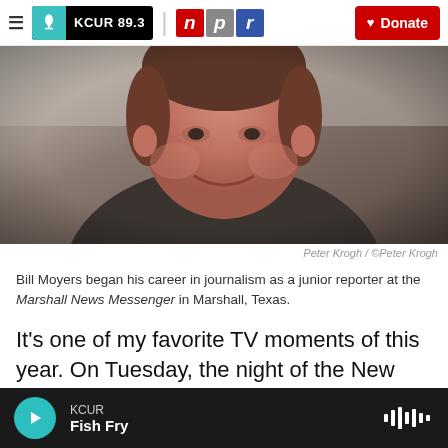KCUR 89.3 | npr | Donate
[Figure (photo): Portrait photo of Bill Moyers, a smiling man in a dark sweater over a white collar shirt, photographed from chest up]
Peter Krogh / ©Peter Krogh
Bill Moyers began his career in journalism as a junior reporter at the Marshall News Messenger in Marshall, Texas.
It's one of my favorite TV moments of this year. On Tuesday, the night of the New Hampshire primary, Stephen Colbert had Bill Moyers as his special
KCUR Fish Fry